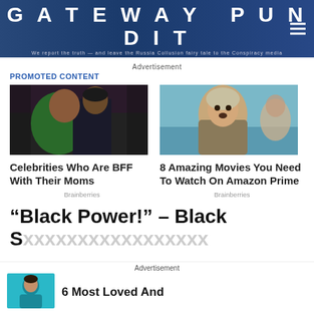GATEWAY PUNDIT — We report the truth — and leave the Russia Collusion fairy tale to the Conspiracy media
Advertisement
PROMOTED CONTENT
[Figure (photo): Two people at a formal event, one in green dress]
Celebrities Who Are BFF With Their Moms
Brainberries
[Figure (photo): Woman sitting in bathtub looking surprised, wearing a coat]
8 Amazing Movies You Need To Watch On Amazon Prime
Brainberries
“Black Power!” – Black S
Advertisement
6 Most Loved And